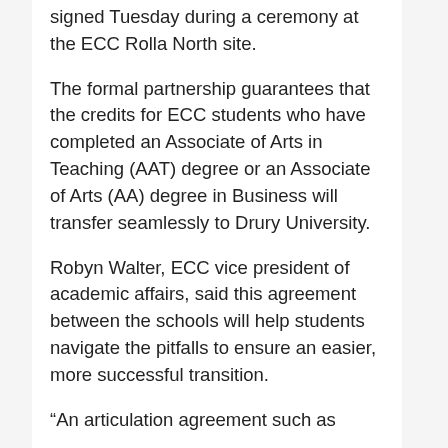signed Tuesday during a ceremony at the ECC Rolla North site.
The formal partnership guarantees that the credits for ECC students who have completed an Associate of Arts in Teaching (AAT) degree or an Associate of Arts (AA) degree in Business will transfer seamlessly to Drury University.
Robyn Walter, ECC vice president of academic affairs, said this agreement between the schools will help students navigate the pitfalls to ensure an easier, more successful transition.
“An articulation agreement such as